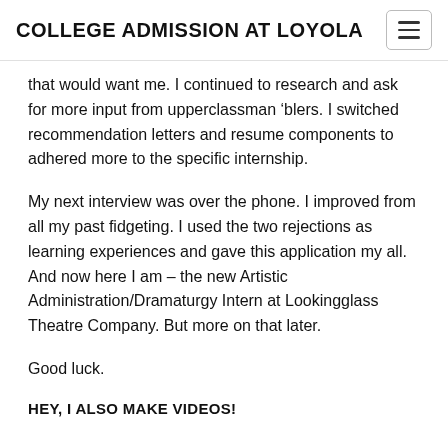COLLEGE ADMISSION AT LOYOLA
that would want me. I continued to research and ask for more input from upperclassman ‘blers. I switched recommendation letters and resume components to adhered more to the specific internship.
My next interview was over the phone. I improved from all my past fidgeting. I used the two rejections as learning experiences and gave this application my all. And now here I am – the new Artistic Administration/Dramaturgy Intern at Lookingglass Theatre Company. But more on that later.
Good luck.
HEY, I ALSO MAKE VIDEOS!